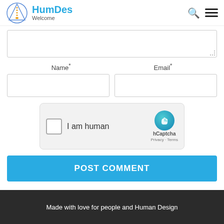HumDes – Welcome
[Figure (screenshot): Comment form with textarea, Name and Email fields, hCaptcha widget, and POST COMMENT button]
Name*
Email*
I am human
hCaptcha
Privacy - Terms
POST COMMENT
Made with love for people and Human Design